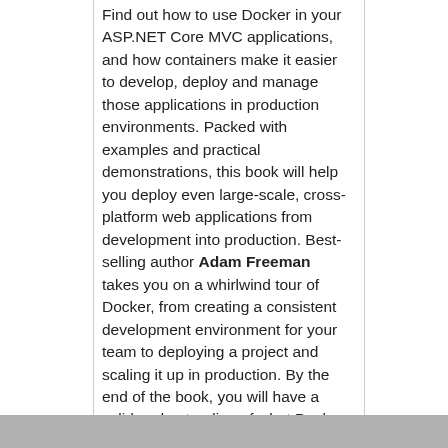Find out how to use Docker in your ASP.NET Core MVC applications, and how containers make it easier to develop, deploy and manage those applications in production environments. Packed with examples and practical demonstrations, this book will help you deploy even large-scale, cross-platform web applications from development into production. Best-selling author Adam Freeman takes you on a whirlwind tour of Docker, from creating a consistent development environment for your team to deploying a project and scaling it up in production. By the end of the book, you will have a solid understanding of what Docker does, how it does it and why it is useful when developing and deploying ASP.NET Core MVC applications.